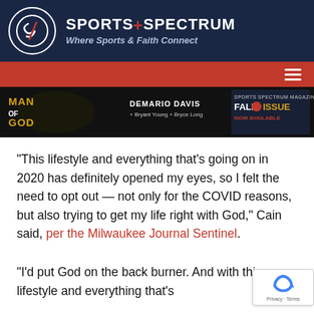SPORTS SPECTRUM — Where Sports & Faith Connect
[Figure (illustration): Sports Spectrum magazine banner ad featuring 'Man of God' with DeMario Davis, Bryant Young, Bryce Long — Fall Issue Now Available]
“This lifestyle and everything that’s going on in 2020 has definitely opened my eyes, so I felt the need to opt out — not only for the COVID reasons, but also trying to get my life right with God,” Cain said, per the Milwaukee Journal Sentinel.
“I’d put God on the back burner. And with this lifestyle and everything that’s